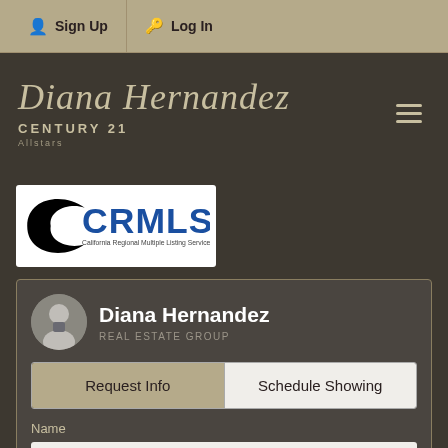Sign Up  Log In
Diana Hernandez CENTURY 21 Allstars
[Figure (logo): CRMLS – California Regional Multiple Listing Service, Inc. logo with black swoosh and blue bold text]
Diana Hernandez – REAL ESTATE GROUP
Request Info | Schedule Showing
Name